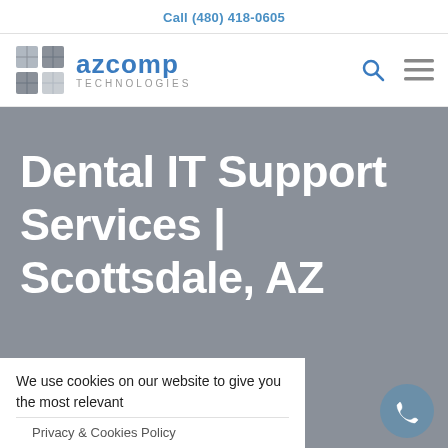Call (480) 418-0605
[Figure (logo): AZCOMP Technologies logo with grid icon and blue text]
Dental IT Support Services | Scottsdale, AZ
We use cookies on our website to give you the most relevant
Privacy & Cookies Policy